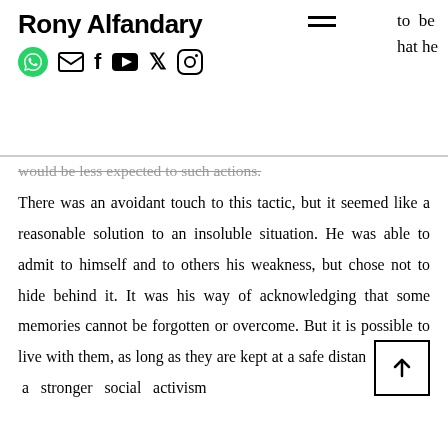Rony Alfandary — social media icons and navigation
would be less expected to such actions.
There was an avoidant touch to this tactic, but it seemed like a reasonable solution to an insoluble situation. He was able to admit to himself and to others his weakness, but chose not to hide behind it. It was his way of acknowledging that some memories cannot be forgotten or overcome. But it is possible to live with them, as long as they are kept at a safe distance formed a stronger social activism